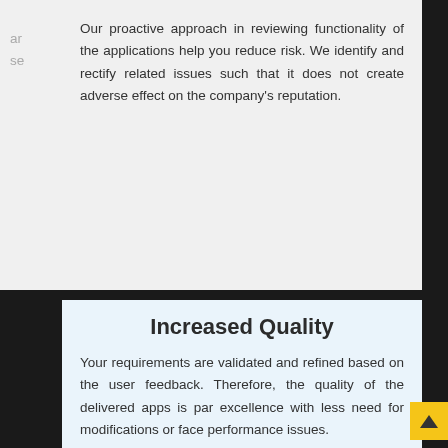Our proactive approach in reviewing functionality of the applications help you reduce risk. We identify and rectify related issues such that it does not create adverse effect on the company's reputation.
Increased Quality
Your requirements are validated and refined based on the user feedback. Therefore, the quality of the delivered apps is par excellence with less need for modifications or face performance issues.